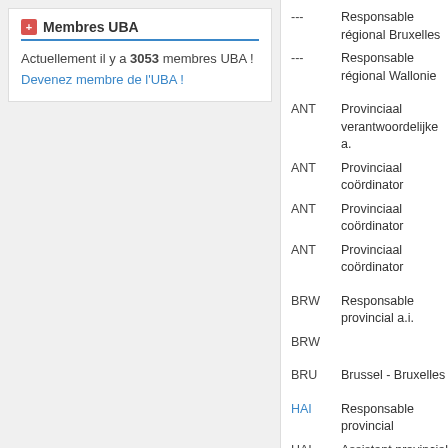Membres UBA
Actuellement il y a 3053 membres UBA !
Devenez membre de l'UBA !
--- Responsable régional Bruxelles
--- Responsable régional Wallonie
ANT Provinciaal verantwoordelijke a.
ANT Provinciaal coördinator
ANT Provinciaal coördinator
ANT Provinciaal coördinator
BRW Responsable provincial a.i.
BRW
BRU Brussel - Bruxelles
HAI Responsable provincial
HAI Assistant provincial
HAI Coordinateur provincial
LIE Responsable provincial
LIE Provinciaal assistent
LIE Coordinateur provincial
LIM Provinciaal verantwoordelijke
LIM Provinciaal assistent
LIM Provinciaal coördinator
LIM Provinciaal coördinator